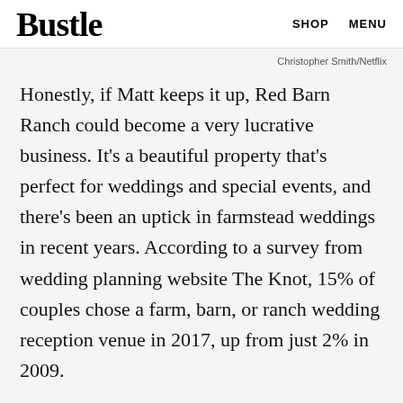Bustle   SHOP   MENU
Christopher Smith/Netflix
Honestly, if Matt keeps it up, Red Barn Ranch could become a very lucrative business. It's a beautiful property that's perfect for weddings and special events, and there's been an uptick in farmstead weddings in recent years. According to a survey from wedding planning website The Knot, 15% of couples chose a farm, barn, or ranch wedding reception venue in 2017, up from just 2% in 2009.
ADVERTISEMENT